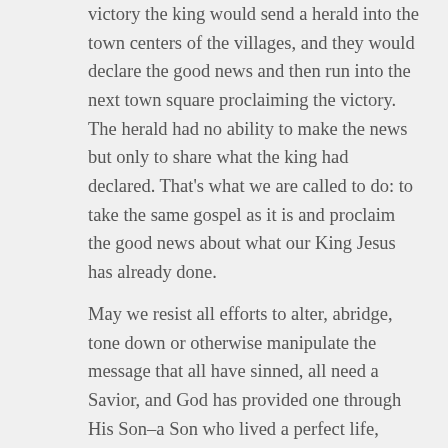victory the king would send a herald into the town centers of the villages, and they would declare the good news and then run into the next town square proclaiming the victory. The herald had no ability to make the news but only to share what the king had declared. That's what we are called to do: to take the same gospel as it is and proclaim the good news about what our King Jesus has already done.
May we resist all efforts to alter, abridge, tone down or otherwise manipulate the message that all have sinned, all need a Savior, and God has provided one through His Son–a Son who lived a perfect life, suffered a cruel and undeserved death, was buried, rose again three days later and